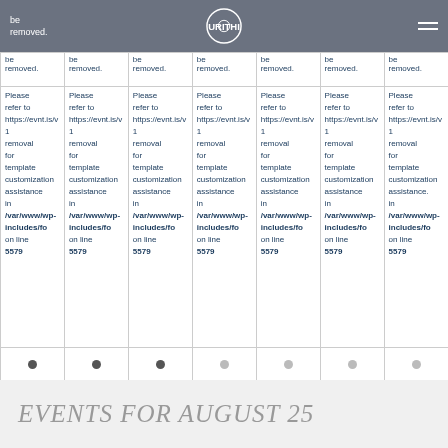be removed. (repeated 7 columns) — URITHI logo header bar
| be removed. | be removed. | be removed. | be removed. | be removed. | be removed. | be removed. |
| Please refer to https://evnt.is/v1 removal for template customization assistance in /var/www/wp-includes/template.php on line 5579 | Please refer to https://evnt.is/v1 removal for template customization assistance in /var/www/wp-includes/template.php on line 5579 | Please refer to https://evnt.is/v1 removal for template customization assistance in /var/www/wp-includes/template.php on line 5579 | Please refer to https://evnt.is/v1 removal for template customization assistance in /var/www/wp-includes/template.php on line 5579 | Please refer to https://evnt.is/v1 removal for template customization assistance in /var/www/wp-includes/template.php on line 5579 | Please refer to https://evnt.is/v1 removal for template customization assistance in /var/www/wp-includes/template.php on line 5579 | Please refer to https://evnt.is/v1 removal for template customization assistance in /var/www/wp-includes/template.php on line 5579 |
| • | • | • | • | • | • | • |
EVENTS FOR AUGUST 25